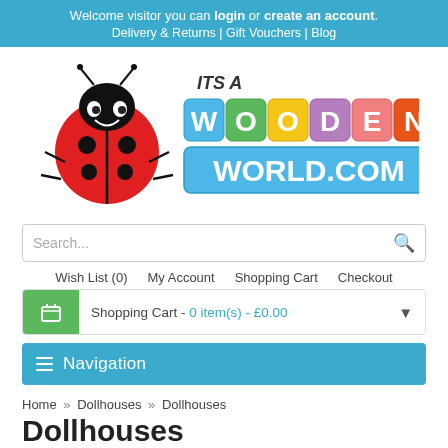Welcome visitor you can login or create an account. Delivery & Returns | Gift Vouchers | Blog
[Figure (logo): It's A Wooden World logo with ladybug mascot and colorful block letters spelling WOODEN WORLD.COM]
Search...
Wish List (0)  My Account  Shopping Cart  Checkout
Shopping Cart - 0 item(s) - £0.00
Navigation
Home » Dollhouses » Dollhouses
Dollhouses